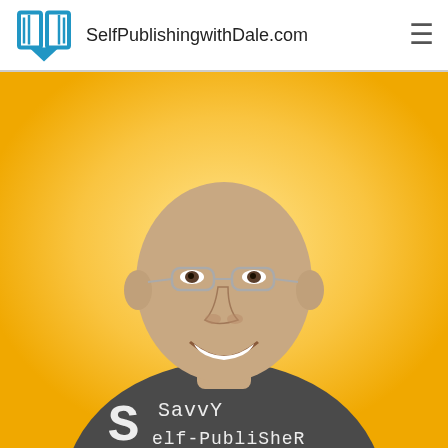SelfPublishingwithDale.com
[Figure (photo): Smiling bald man wearing glasses and a dark grey t-shirt that reads 'Savvy Self-Publisher', photographed against a golden-yellow gradient background.]